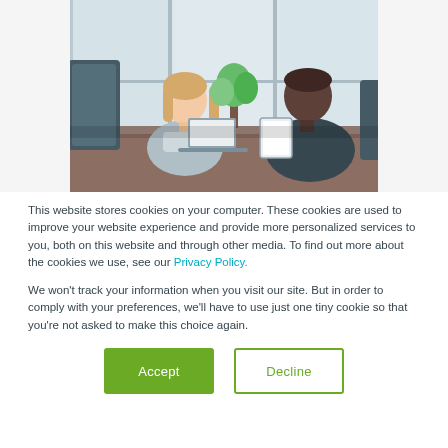[Figure (photo): Two people in an office meeting room: a woman with light hair sitting on the left smiling, and a man in a dark jacket sitting on the right holding a tablet, with large windows in the background.]
This website stores cookies on your computer. These cookies are used to improve your website experience and provide more personalized services to you, both on this website and through other media. To find out more about the cookies we use, see our Privacy Policy.
We won't track your information when you visit our site. But in order to comply with your preferences, we'll have to use just one tiny cookie so that you're not asked to make this choice again.
Accept
Decline